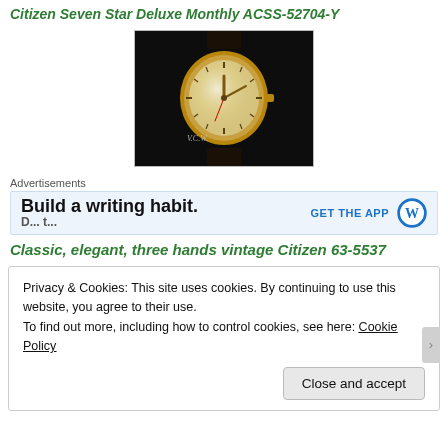Citizen Seven Star Deluxe Monthly ACSS-52704-Y
[Figure (photo): Photograph of a vintage Citizen watch with a round gold case, silver dial with star-pattern design and gold hands, on a dark background. Signed 'V.C.W.' in the lower left.]
Advertisements
Build a writing habit. GET THE APP [WordPress logo]
Classic, elegant, three hands vintage Citizen 63-5537
Privacy & Cookies: This site uses cookies. By continuing to use this website, you agree to their use.
To find out more, including how to control cookies, see here: Cookie Policy
Close and accept